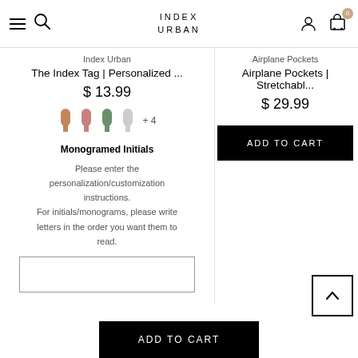INDEX URBAN
Index Urban
The Index Tag | Personalized ...
$ 13.99
[Figure (illustration): Four color swatches (bottle icons) in brown, pink/rose, green, light gray, plus '+4' more colors indicator]
Monogramed Initials
Please enter the personalization/customization instructions. For initials/monograms, please write letters in the order you want them to read.
Index Urban (text input box placeholder)
Airplane Pockets
Airplane Pockets | Stretchabl...
$ 29.99
ADD TO CART
ADD TO CART